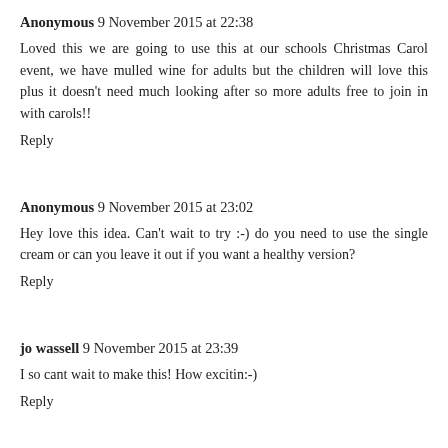Anonymous 9 November 2015 at 22:38
Loved this we are going to use this at our schools Christmas Carol event, we have mulled wine for adults but the children will love this plus it doesn't need much looking after so more adults free to join in with carols!!
Reply
Anonymous 9 November 2015 at 23:02
Hey love this idea. Can't wait to try :-) do you need to use the single cream or can you leave it out if you want a healthy version?
Reply
jo wassell 9 November 2015 at 23:39
I so cant wait to make this! How excitin:-)
Reply